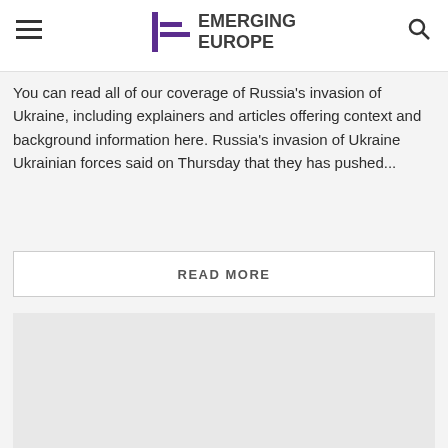Emerging Europe
You can read all of our coverage of Russia's invasion of Ukraine, including explainers and articles offering context and background information here. Russia's invasion of Ukraine Ukrainian forces said on Thursday that they has pushed...
READ MORE
[Figure (photo): Gray placeholder image block]
NEWS & ANALYSIS